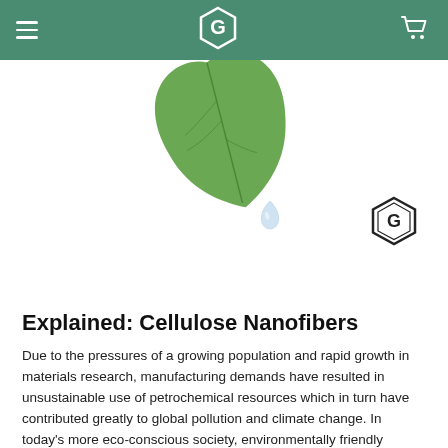Navigation header with hamburger menu, G logo, and cart icon
[Figure (photo): Close-up photo of a green leaf with a water droplet hanging from its tip, on a white background]
[Figure (logo): Hexagonal G logo watermark in dark color]
Explained: Cellulose Nanofibers
Due to the pressures of a growing population and rapid growth in materials research, manufacturing demands have resulted in unsustainable use of petrochemical resources which in turn have contributed greatly to global pollution and climate change. In today's more eco-conscious society, environmentally friendly biopolymers present a sustainable alternative to fossil-based resources.Introduction In this